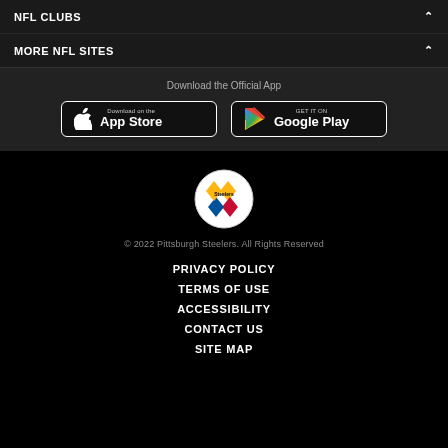NFL CLUBS
MORE NFL SITES
Download the Official App
[Figure (screenshot): App Store download button for iOS]
[Figure (screenshot): Google Play download button for Android]
[Figure (logo): Pittsburgh Steelers logo - circular badge with gold, red, and blue diamond shapes]
© 2022 Pittsburgh Steelers. All Rights Reserved
PRIVACY POLICY
TERMS OF USE
ACCESSIBILITY
CONTACT US
SITE MAP